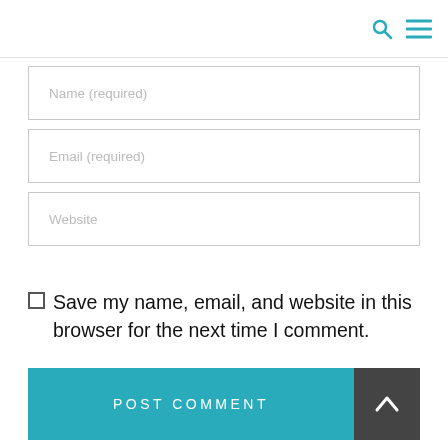search and menu icons
Name (required)
Email (required)
Website
Save my name, email, and website in this browser for the next time I comment.
POST COMMENT